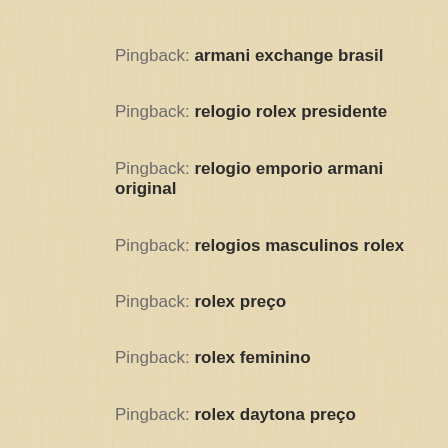Pingback: armani exchange brasil
Pingback: relogio rolex presidente
Pingback: relogio emporio armani original
Pingback: relogios masculinos rolex
Pingback: rolex preço
Pingback: rolex feminino
Pingback: rolex daytona preço